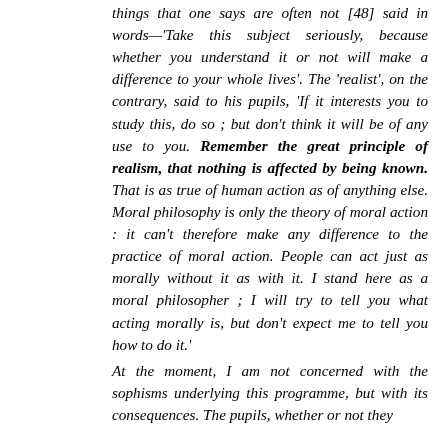things that one says are often not [48] said in words—'Take this subject seriously, because whether you understand it or not will make a difference to your whole lives'. The 'realist', on the contrary, said to his pupils, 'If it interests you to study this, do so; but don't think it will be of any use to you. Remember the great principle of realism, that nothing is affected by being known. That is as true of human action as of anything else. Moral philosophy is only the theory of moral action: it can't therefore make any difference to the practice of moral action. People can act just as morally without it as with it. I stand here as a moral philosopher; I will try to tell you what acting morally is, but don't expect me to tell you how to do it.'
At the moment, I am not concerned with the sophisms underlying this programme, but with its consequences. The pupils, whether or not they